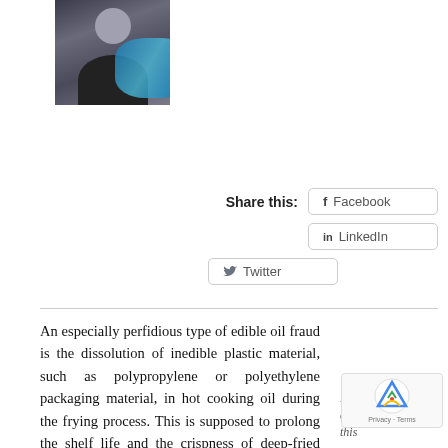[Figure (photo): Portrait photo of a person wearing a black jacket and blue scarf]
Share this:
Facebook
LinkedIn
Twitter
An especially perfidious type of edible oil fraud is the dissolution of inedible plastic material, such as polypropylene or polyethylene packaging material, in hot cooking oil during the frying process. This is supposed to prolong the shelf life and the crispness of deep-fried snack food, not surprisingly with
Find records of fr… as those discussed in this